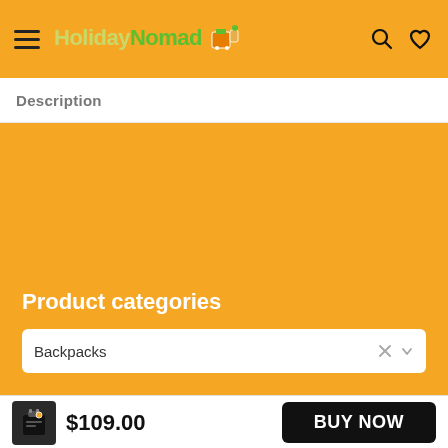HolidayNomad
Description
Product categories
Backpacks
$109.00
BUY NOW